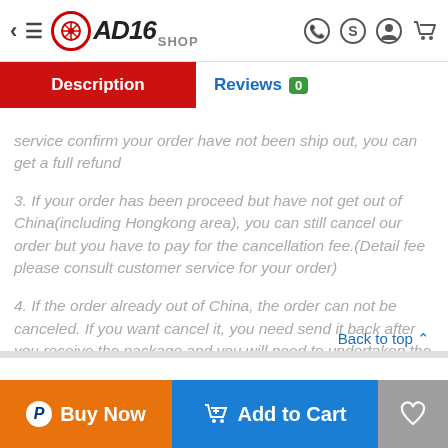AD16 Shop - navigation bar with logo, menu, and cart icons
Description | Reviews 0
service confirm your order have not been ship out, you can get a full refund
3. If your order has been proceed but have not get out of China(including Hongkong area), you can still cancel our order but you have to pay for the cancellation fee.(Detail fee please consult customer service for your order)
4. If the order already out of China, the order can not be canceled. If you want cancel it, you need send it back after you receive the package and you will need to undertaken the return fee.
Back to top ↑
Buy Now | Add to Cart | Wishlist